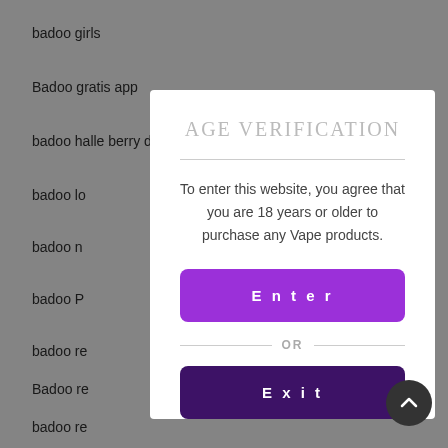badoo girls
Badoo gratis app
badoo halle berry dating
badoo lo
badoo n
badoo P
badoo re
Badoo re
badoo re
badoo si
badoo v
badoo v
Badoo w
AGE VERIFICATION
To enter this website, you agree that you are 18 years or older to purchase any Vape products.
Enter
OR
Exit